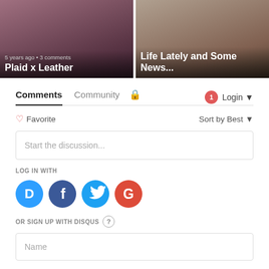[Figure (screenshot): Two blog post thumbnail cards side by side. Left card shows 'Plaid x Leather' with '5 years ago • 3 comments'. Right card shows 'Life Lately and Some News...']
Comments   Community   🔒   1   Login ▾
♡ Favorite   Sort by Best ▾
Start the discussion...
LOG IN WITH
[Figure (logo): Social login icons: Disqus (blue), Facebook (dark blue), Twitter (light blue), Google (red)]
OR SIGN UP WITH DISQUS ?
Name